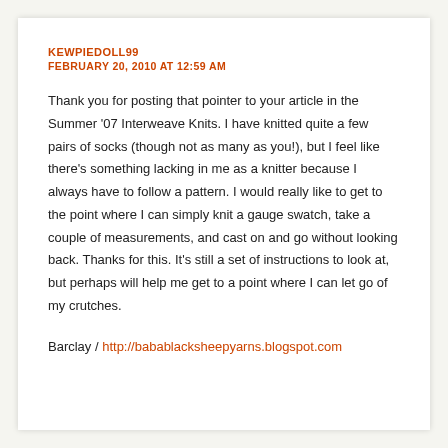KEWPIEDOLL99
FEBRUARY 20, 2010 AT 12:59 AM
Thank you for posting that pointer to your article in the Summer '07 Interweave Knits. I have knitted quite a few pairs of socks (though not as many as you!), but I feel like there's something lacking in me as a knitter because I always have to follow a pattern. I would really like to get to the point where I can simply knit a gauge swatch, take a couple of measurements, and cast on and go without looking back. Thanks for this. It's still a set of instructions to look at, but perhaps will help me get to a point where I can let go of my crutches.
Barclay / http://babablacksheepyarns.blogspot.com